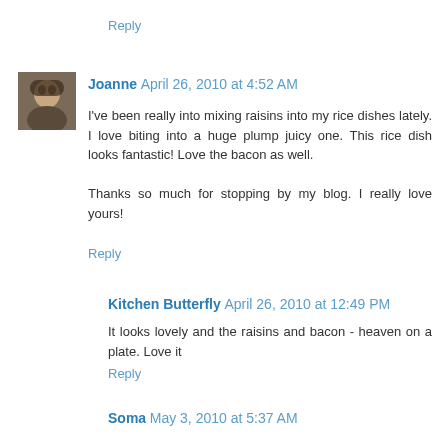Reply
Joanne April 26, 2010 at 4:52 AM
I've been really into mixing raisins into my rice dishes lately. I love biting into a huge plump juicy one. This rice dish looks fantastic! Love the bacon as well.

Thanks so much for stopping by my blog. I really love yours!
Reply
Kitchen Butterfly April 26, 2010 at 12:49 PM
It looks lovely and the raisins and bacon - heaven on a plate. Love it
Reply
Soma May 3, 2010 at 5:37 AM